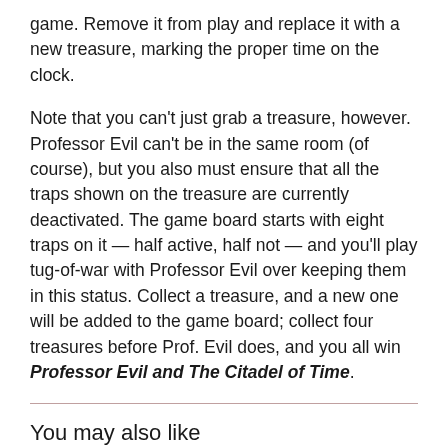game. Remove it from play and replace it with a new treasure, marking the proper time on the clock.
Note that you can't just grab a treasure, however. Professor Evil can't be in the same room (of course), but you also must ensure that all the traps shown on the treasure are currently deactivated. The game board starts with eight traps on it — half active, half not — and you'll play tug-of-war with Professor Evil over keeping them in this status. Collect a treasure, and a new one will be added to the game board; collect four treasures before Prof. Evil does, and you all win Professor Evil and The Citadel of Time.
You may also like